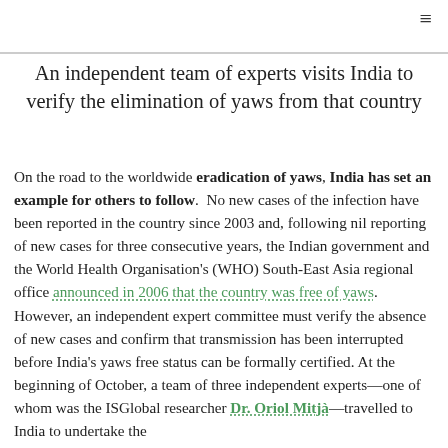≡
An independent team of experts visits India to verify the elimination of yaws from that country
On the road to the worldwide eradication of yaws, India has set an example for others to follow. No new cases of the infection have been reported in the country since 2003 and, following nil reporting of new cases for three consecutive years, the Indian government and the World Health Organisation's (WHO) South-East Asia regional office announced in 2006 that the country was free of yaws. However, an independent expert committee must verify the absence of new cases and confirm that transmission has been interrupted before India's yaws free status can be formally certified. At the beginning of October, a team of three independent experts—one of whom was the ISGlobal researcher Dr. Oriol Mitjà—travelled to India to undertake the